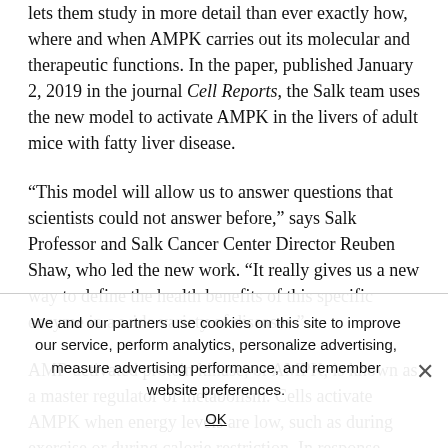lets them study in more detail than ever exactly how, where and when AMPK carries out its molecular and therapeutic functions. In the paper, published January 2, 2019 in the journal Cell Reports, the Salk team uses the new model to activate AMPK in the livers of adult mice with fatty liver disease.
“This model will allow us to answer questions that scientists could not answer before,” says Salk Professor and Salk Cancer Center Director Reuben Shaw, who led the new work. “It really gives us a new way to define the health benefits of this specific enzyme in a wide variety of diseases.”
AMP-activated protein kinase, or AMPK, is known as a master regulator of metabolism. Cells activate AMPK when energy levels are low, such as during exercise or during calorie restriction. In response, AMPK alters the activity of many other genes and proteins, helping keep cells alive and functioning even when
We and our partners use cookies on this site to improve our service, perform analytics, personalize advertising, measure advertising performance, and remember website preferences.